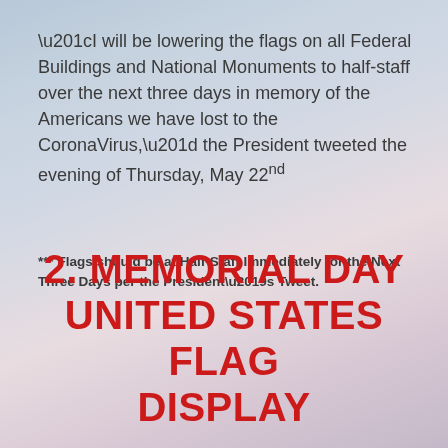“I will be lowering the flags on all Federal Buildings and National Monuments to half-staff over the next three days in memory of the Americans we have lost to the CoronaVirus,” the President tweeted the evening of Thursday, May 22nd
*** Flags should be at Half-Staff Immediately for the Next Three Days per the President’s Tweet.
2. MEMORIAL DAY UNITED STATES FLAG DISPLAY